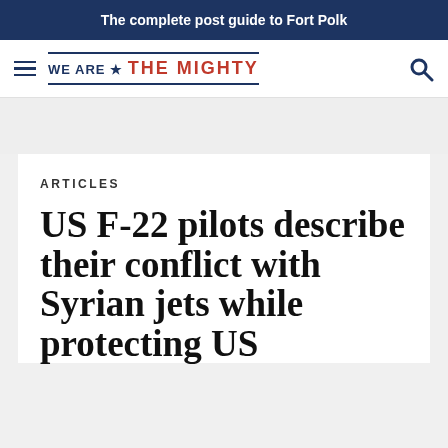The complete post guide to Fort Polk
[Figure (logo): We Are The Mighty logo with hamburger menu and search icon]
ARTICLES
US F-22 pilots describe their conflict with Syrian jets while protecting US